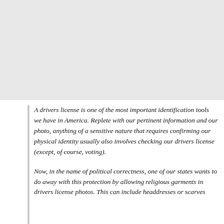[Figure (photo): Large image area, appears blank/grey, likely a photo of a drivers license or related subject]
A drivers license is one of the most important identification tools we have in America. Replete with our pertinent information and our photo, anything of a sensitive nature that requires confirming our physical identity usually also involves checking our drivers license (except, of course, voting).
Now, in the name of political correctness, one of our states wants to do away with this protection by allowing religious garments in drivers license photos. This can include headdresses or scarves